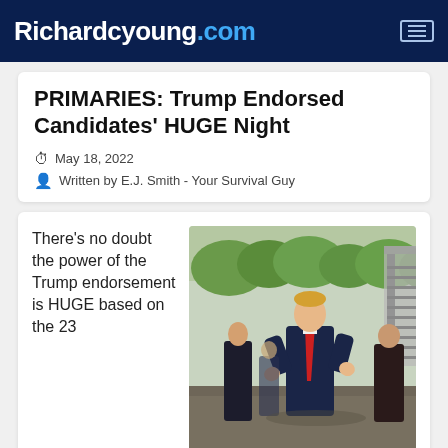Richardcyoung.com
PRIMARIES: Trump Endorsed Candidates' HUGE Night
May 18, 2022
Written by E.J. Smith - Your Survival Guy
There's no doubt the power of the Trump endorsement is HUGE based on the 23
[Figure (photo): Donald Trump in a dark navy suit and red tie walking on an airport tarmac, flanked by Secret Service agents, with an aircraft staircase in the background and green trees on the horizon.]